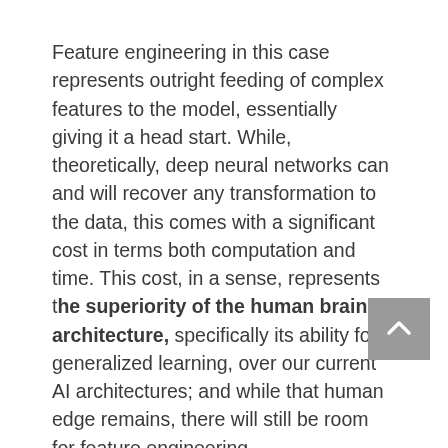Feature engineering in this case represents outright feeding of complex features to the model, essentially giving it a head start. While, theoretically, deep neural networks can and will recover any transformation to the data, this comes with a significant cost in terms both computation and time. This cost, in a sense, represents the superiority of the human brain's architecture, specifically its ability for generalized learning, over our current AI architectures; and while that human edge remains, there will still be room for feature engineering.